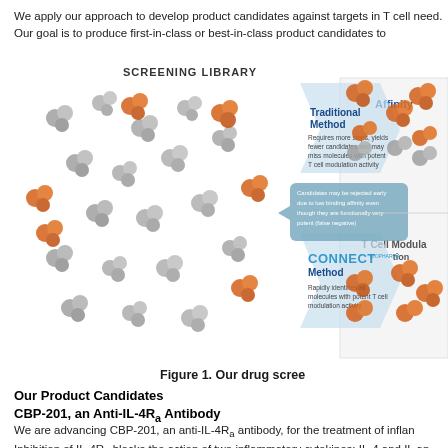We apply our approach to develop product candidates against targets in T cell need. Our goal is to produce first-in-class or best-in-class product candidates to
[Figure (infographic): Drug screening library diagram showing Traditional Method vs CONNECT Biopharma Method. Left side shows a screening library with mixed grey and orange molecule clusters. Traditional Method arrow (top) goes through affinity selection yielding fewer candidates and may miss molecules with potent T cell modulation activity. A callout box notes candidates may be rejected early due to low binding affinity even though they are functionally very potent (false negative). CONNECT Method arrow (bottom) rapidly identifies all molecules with potent T cell modulation activity. Right side shows Affinity (top) and T Cell Modulation (bottom) outputs.]
Figure 1. Our drug scree
Our Product Candidates
CBP-201, an Anti-IL-4Rα Antibody
We are advancing CBP-201, an anti-IL-4Rα antibody, for the treatment of inflan Inhibition of IL-4Rα blocks the action of two inflammatory cytokines: IL-4 and IL an antibody that targets IL-4Rα, has been demonstrated to lead to significant th the market for only three years, sales of dupilumab were over €2 billion in 2019